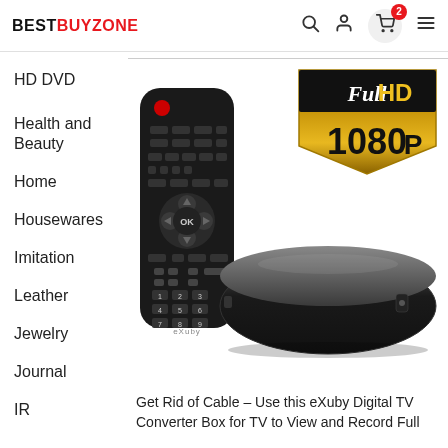BESTBUYZONE
HD DVD
Health and
Beauty
Home
Housewares
Imitation
Leather
Jewelry
Journal
IR
[Figure (photo): eXuby Digital TV Converter Box with remote control and Full HD 1080p badge]
Get Rid of Cable – Use this eXuby Digital TV Converter Box for TV to View and Record Full